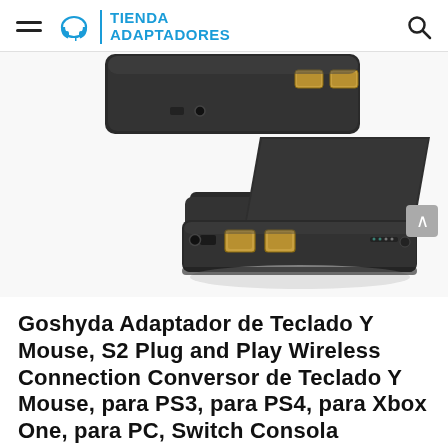TIENDA ADAPTADORES
[Figure (photo): Product photo of Goshyda keyboard and mouse adapter (S2 Plug and Play Wireless Connection Converter) — a black rectangular device shown in two angles: one from above showing USB ports, and one showing the device in a stand/dock form with USB and audio ports on the front.]
Goshyda Adaptador de Teclado Y Mouse, S2 Plug and Play Wireless Connection Conversor de Teclado Y Mouse, para PS3, para PS4, para Xbox One, para PC, Switch Consola